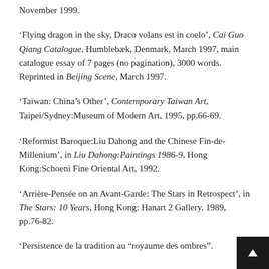November 1999.
'Flying dragon in the sky, Draco volans est in coelo', Cai Guo Qiang Catalogue, Humblebæk, Denmark, March 1997, main catalogue essay of 7 pages (no pagination), 3000 words. Reprinted in Beijing Scene, March 1997.
'Taiwan: China's Other', Contemporary Taiwan Art, Taipei/Sydney:Museum of Modern Art, 1995, pp.66-69.
'Reformist Baroque:Liu Dahong and the Chinese Fin-de-Millenium', in Liu Dahong:Paintings 1986-9, Hong Kong:Schoeni Fine Oriental Art, 1992.
'Arrière-Pensée on an Avant-Garde: The Stars in Retrospect', in The Stars: 10 Years, Hong Kong: Hanart 2 Gallery, 1989, pp.76-82.
'Persistence de la tradition au “royaume des ombres”.